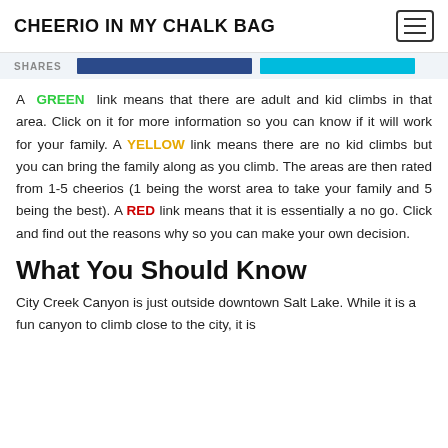CHEERIO IN MY CHALK BAG
SHARES
A GREEN link means that there are adult and kid climbs in that area. Click on it for more information so you can know if it will work for your family. A YELLOW link means there are no kid climbs but you can bring the family along as you climb. The areas are then rated from 1-5 cheerios (1 being the worst area to take your family and 5 being the best). A RED link means that it is essentially a no go. Click and find out the reasons why so you can make your own decision.
What You Should Know
City Creek Canyon is just outside downtown Salt Lake. While it is a fun canyon to climb close to the city, it is